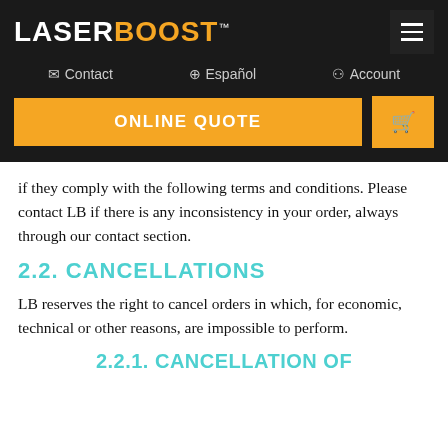LASERBOOST™ | Contact | Español | Account | ONLINE QUOTE | Cart
if they comply with the following terms and conditions. Please contact LB if there is any inconsistency in your order, always through our contact section.
2.2. CANCELLATIONS
LB reserves the right to cancel orders in which, for economic, technical or other reasons, are impossible to perform.
2.2.1. CANCELLATION OF